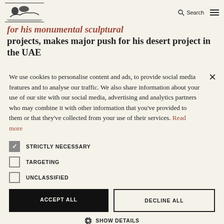Search [navigation logo and menu]
... for his monumental sculptural projects, makes major push for his desert project in the UAE
We use cookies to personalise content and ads, to provide social media features and to analyse our traffic. We also share information about your use of our site with our social media, advertising and analytics partners who may combine it with other information that you've provided to them or that they've collected from your use of their services. Read more
STRICTLY NECESSARY
TARGETING
UNCLASSIFIED
ACCEPT ALL | DECLINE ALL
SHOW DETAILS